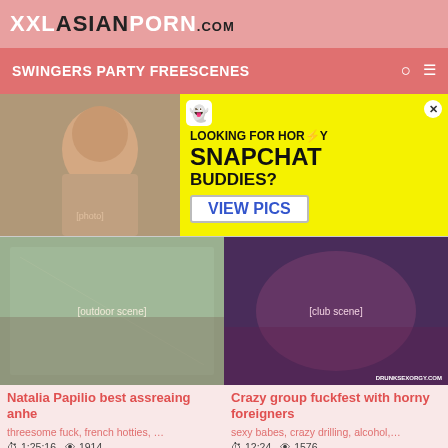XXLASIANPORN.com
SWINGERS PARTY FREESCENES
[Figure (illustration): Advertisement banner: woman photo on left, yellow background on right with Snapchat ghost icon, text 'LOOKING FOR HORNY SNAPCHAT BUDDIES? VIEW PICS']
[Figure (photo): Outdoor scene with people on a field - video thumbnail for 'Natalia Papilio best assreaing anhe']
Natalia Papilio best assreaing anhe
threesome fuck, french hotties, …
1:25:16  1914  07 August 2022
[Figure (photo): Club/party scene with people - video thumbnail for 'Crazy group fuckfest with horny foreigners', watermark DRUNKSEXORGY.COM]
Crazy group fuckfest with horny foreigners
sexy babes, crazy drilling, alcohol,…
12:24  1576  16 August 2022
[Figure (photo): Partial thumbnail at bottom left]
[Figure (photo): Partial thumbnail at bottom right]